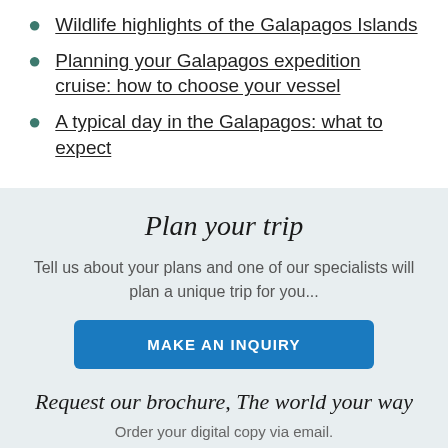Wildlife highlights of the Galapagos Islands
Planning your Galapagos expedition cruise: how to choose your vessel
A typical day in the Galapagos: what to expect
Plan your trip
Tell us about your plans and one of our specialists will plan a unique trip for you...
MAKE AN INQUIRY
Request our brochure, The world your way
Order your digital copy via email.
REQUEST A BROCHURE